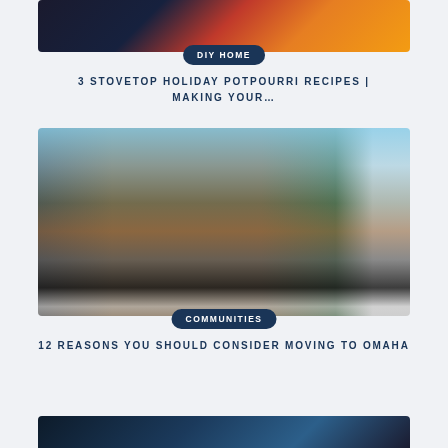[Figure (photo): Partial top view of a pot with holiday potpourri ingredients including oranges, cranberries, and cinnamon sticks]
DIY HOME
3 STOVETOP HOLIDAY POTPOURRI RECIPES | MAKING YOUR…
[Figure (photo): Horse-drawn white carriage in front of a red brick building on a sunny day in Omaha, with green trees and pedestrians in background]
COMMUNITIES
12 REASONS YOU SHOULD CONSIDER MOVING TO OMAHA
[Figure (photo): Partially visible dark image at the bottom of the page, likely a third article image]